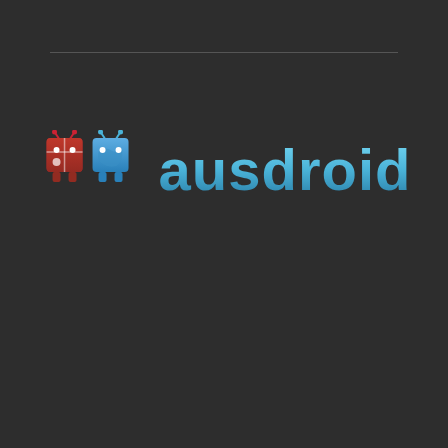[Figure (logo): Ausdroid logo: two Android robot figures (one with Australian flag colors, one blue) with antenna, followed by the text 'ausdroid' in blue gradient lettering]